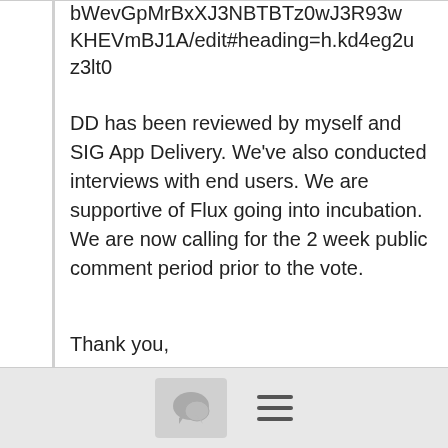bWevGpMrBxXJ3NBTBTz0wJ3R93wKHEVmBJ1A/edit#heading=h.kd4eg2uz3lt0
DD has been reviewed by myself and SIG App Delivery. We've also conducted interviews with end users. We are supportive of Flux going into incubation. We are now calling for the 2 week public comment period prior to the vote.
Thank you,
Michelle Noorali
[Figure (screenshot): Bottom navigation bar with a chat bubble icon button and a hamburger menu icon]